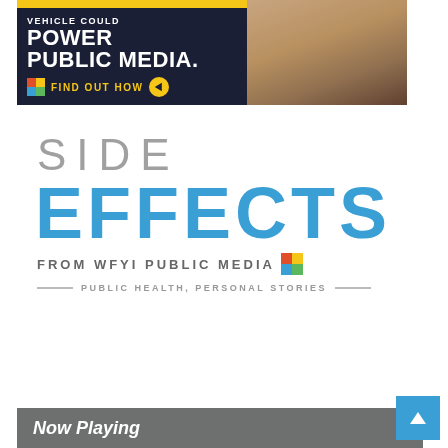[Figure (illustration): Advertisement banner with dark navy background showing 'VEHICLE COULD POWER PUBLIC MEDIA.' text in white bold letters with a yellow WFYI multicolored logo icon and 'FIND OUT HOW' call to action with an orange arrow circle. A photo of a person's wrist/hand is partially visible on the right side.]
[Figure (logo): Side Effects from WFYI Public Media logo. 'SIDE' in large light gray text, 'EFFECTS' in large bold blue text below, 'FROM WFYI PUBLIC MEDIA' with WFYI multicolor icon in gray, and tagline 'PUBLIC HEALTH, PERSONAL STORIES' with decorative horizontal lines.]
Now Playing